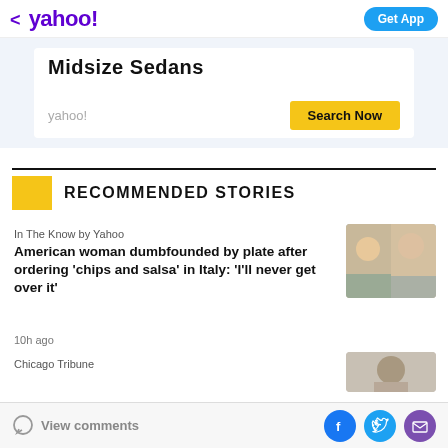< yahoo!  Get App
[Figure (screenshot): Yahoo search ad banner showing 'Midsize Sedans' with a yellow 'Search Now' button and yahoo! text]
RECOMMENDED STORIES
In The Know by Yahoo
American woman dumbfounded by plate after ordering 'chips and salsa' in Italy: 'I'll never get over it'
10h ago
Chicago Tribune
View comments